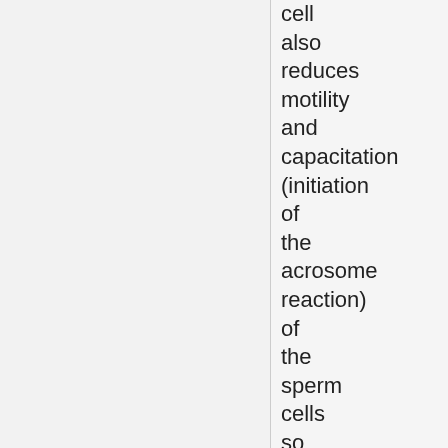cell also reduces motility and capacitation (initiation of the acrosome reaction) of the sperm cells so